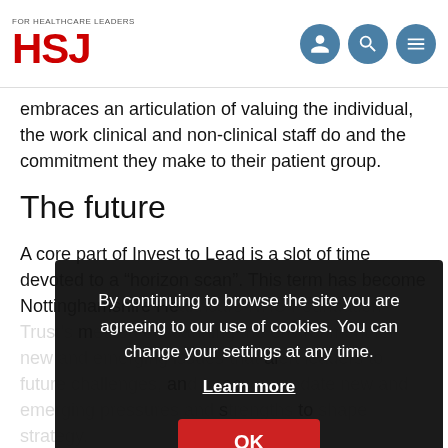HSJ - FOR HEALTHCARE LEADERS
embraces an articulation of valuing the individual, the work clinical and non-clinical staff do and the commitment they make to their patient group.
The future
A core part of Invest to Lead is a slot of time devoted to a “horizon scan”. This term has become Nottinghamshire He[alth...] m[...] al an[...] ac[...] s to[...]
By continuing to browse the site you are agreeing to our use of cookies. You can change your settings at any time.
Learn more
OK
Th[e horizon scan, honored primarily but not exclusively by] the chief executive, has become an essential building block to